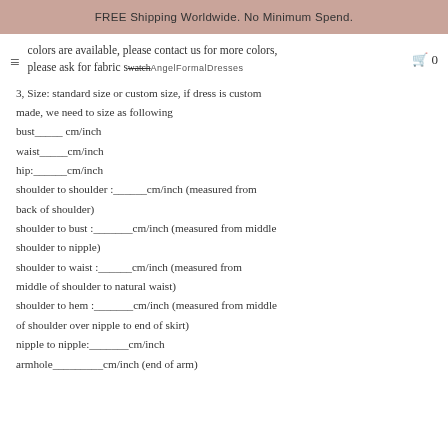FREE Shipping Worldwide. No Minimum Spend.
colors are available, please contact us for more colors, please ask for fabric swatch
3, Size: standard size or custom size, if dress is custom made, we need to size as following
bust_____ cm/inch
waist_____cm/inch
hip:______cm/inch
shoulder to shoulder :______cm/inch (measured from back of shoulder)
shoulder to bust :_______cm/inch (measured from middle shoulder to nipple)
shoulder to waist :______cm/inch (measured from middle of shoulder to natural waist)
shoulder to hem :_______cm/inch (measured from middle of shoulder over nipple to end of skirt)
nipple to nipple:_______cm/inch
armhole_________cm/inch (end of arm)